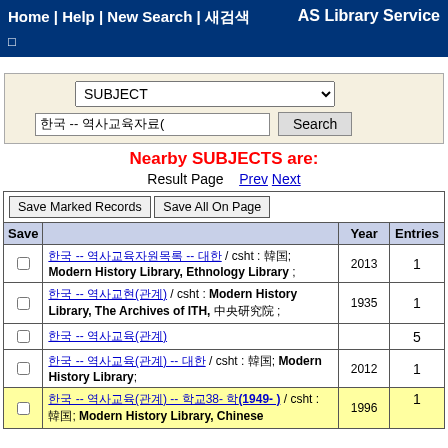Home | Help | New Search | 새검색
□
AS Library Service
SUBJECT (dropdown)
한국 -- 역사교육자료( (search input) Search (button)
Nearby SUBJECTS are:
Result Page   Prev  Next
| Save |  | Year | Entries |
| --- | --- | --- | --- |
| Save Marked Records | Save All On Page |  |  |
| ☐ | 한국 -- 역사교육자원목록 -- 대한 / csht : 韓国; Modern History Library, Ethnology Library ; | 2013 | 1 |
| ☐ | 한국 -- 역사교현(관계) / csht : Modern History Library, The Archives of ITH, 中央研究院 ; | 1935 | 1 |
| ☐ | 한국 -- 역사교육(관계) |  | 5 |
| ☐ | 한국 -- 역사교육(관계) -- 대한 / csht : 韓国; Modern History Library; | 2012 | 1 |
| ☐ | 한국 -- 역사교육(관계) -- 학교38- 학(1949- ) / csht : 韓国; Modern History Library, Chinese | 1996 | 1 |